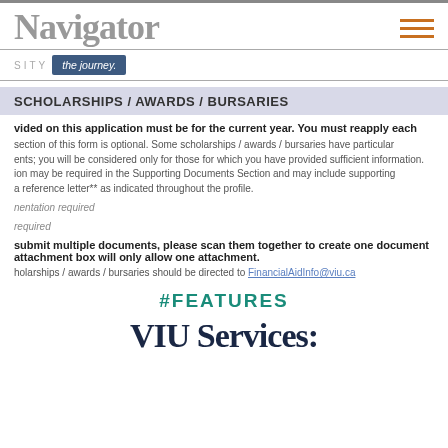Navigator
SITY   the journey.
SCHOLARSHIPS / AWARDS / BURSARIES
vided on this application must be for the current year. You must reapply each
section of this form is optional. Some scholarships / awards / bursaries have particular ents; you will be considered only for those for which you have provided sufficient information. ion may be required in the Supporting Documents Section and may include supporting a reference letter** as indicated throughout the profile.
nentation required
required
submit multiple documents, please scan them together to create one document attachment box will only allow one attachment.
holarships / awards / bursaries should be directed to FinancialAidInfo@viu.ca
#FEATURES
VIU Services: